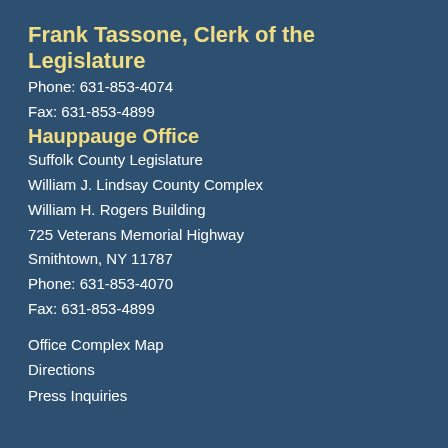Frank Tassone, Clerk of the Legislature
Phone: 631-853-4074
Fax: 631-853-4899
Hauppauge Office
Suffolk County Legislature
William J. Lindsay County Complex
William H. Rogers Building
725 Veterans Memorial Highway
Smithtown, NY 11787
Phone: 631-853-4070
Fax: 631-853-4899
Office Complex Map
Directions
Press Inquiries